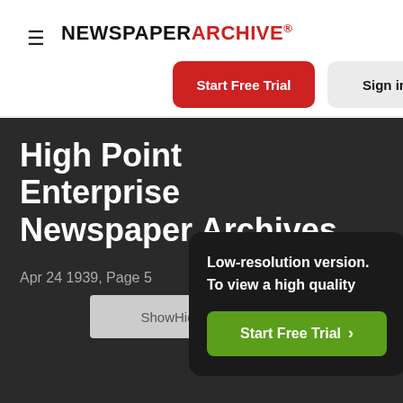NEWSPAPER ARCHIVE®
Start Free Trial
Sign in
High Point Enterprise Newspaper Archives
Apr 24 1939, Page 5
ShowHid
Low-resolution version. To view a high quality
Start Free Trial >